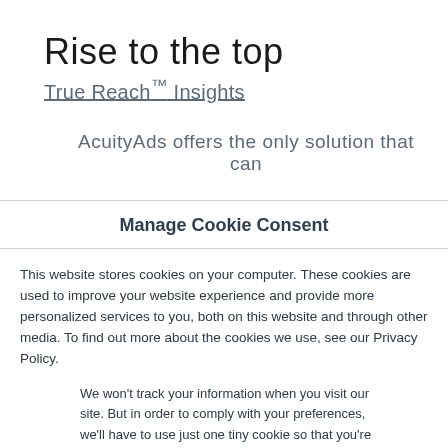Rise to the top
True Reach™ Insights
AcuityAds offers the only solution that can
Manage Cookie Consent
This website stores cookies on your computer. These cookies are used to improve your website experience and provide more personalized services to you, both on this website and through other media. To find out more about the cookies we use, see our Privacy Policy.
We won't track your information when you visit our site. But in order to comply with your preferences, we'll have to use just one tiny cookie so that you're not asked to make this choice again.
Accept
Decline